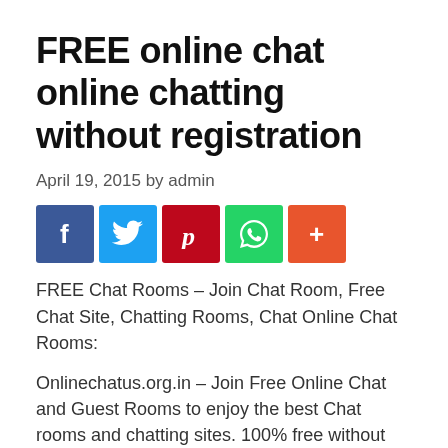FREE online chat online chatting without registration
April 19, 2015 by admin
[Figure (other): Social media share buttons: Facebook (blue), Twitter (light blue), Pinterest (red), WhatsApp (green), Google+ (orange-red)]
FREE Chat Rooms – Join Chat Room, Free Chat Site, Chatting Rooms, Chat Online Chat Rooms:
Onlinechatus.org.in – Join Free Online Chat and Guest Rooms to enjoy the best Chat rooms and chatting sites. 100% free without registration.